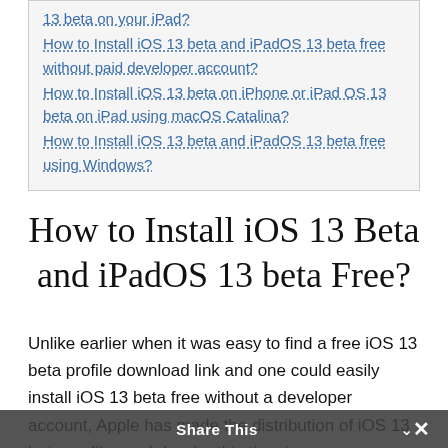13 beta on your iPad?
How to Install iOS 13 beta and iPadOS 13 beta free without paid developer account?
How to Install iOS 13 beta on iPhone or iPad OS 13 beta on iPad using macOS Catalina?
How to Install iOS 13 beta and iPadOS 13 beta free using Windows?
How to Install iOS 13 Beta and iPadOS 13 beta Free?
Unlike earlier when it was easy to find a free iOS 13 beta profile download link and one could easily install iOS 13 beta free without a developer account, Apple has made the distribution of iOS 13 beta profile much harder this time in
Share This